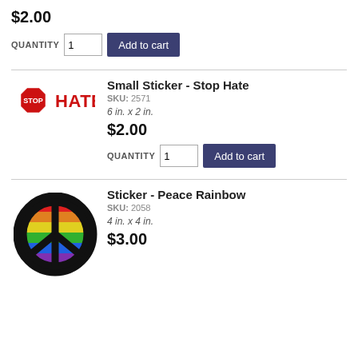$2.00
QUANTITY 1  Add to cart
Small Sticker - Stop Hate
SKU: 2571
6 in. x 2 in.
$2.00
QUANTITY 1  Add to cart
Sticker - Peace Rainbow
SKU: 2058
4 in. x 4 in.
$3.00